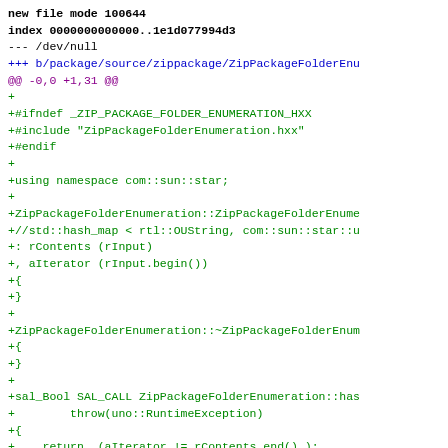new file mode 100644
index 0000000000000..1e1d077994d3
--- /dev/null
+++ b/package/source/zippackage/ZipPackageFolderEnu
@@ -0,0 +1,31 @@
+
+#ifndef _ZIP_PACKAGE_FOLDER_ENUMERATION_HXX
+#include "ZipPackageFolderEnumeration.hxx"
+#endif
+
+using namespace com::sun::star;
+
+ZipPackageFolderEnumeration::ZipPackageFolderEnume
+//std::hash_map < rtl::OUString, com::sun::star::u
+: rContents (rInput)
+, aIterator (rInput.begin())
+{
+}
+
+ZipPackageFolderEnumeration::~ZipPackageFolderEnum
+{
+}
+
+sal_Bool SAL_CALL ZipPackageFolderEnumeration::has
+        throw(uno::RuntimeException)
+{
+    return  (aIterator != rContents.end() );
+}
+uno::Any SAL_CALL ZipPackageFolderEnumeration::nex
+        throw(container::NoSuchElementException, l
+{